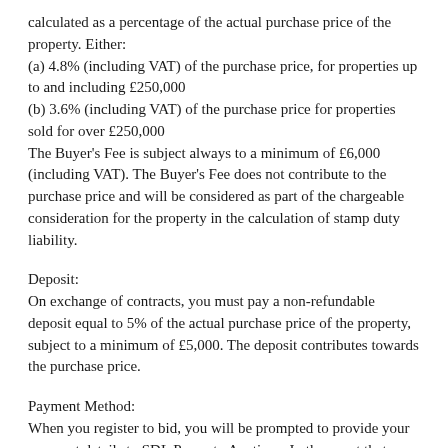calculated as a percentage of the actual purchase price of the property. Either:
(a) 4.8% (including VAT) of the purchase price, for properties up to and including £250,000
(b) 3.6% (including VAT) of the purchase price for properties sold for over £250,000
The Buyer's Fee is subject always to a minimum of £6,000 (including VAT). The Buyer's Fee does not contribute to the purchase price and will be considered as part of the chargeable consideration for the property in the calculation of stamp duty liability.
Deposit:
On exchange of contracts, you must pay a non-refundable deposit equal to 5% of the actual purchase price of the property, subject to a minimum of £5,000. The deposit contributes towards the purchase price.
Payment Method:
When you register to bid, you will be prompted to provide your payment details to SDL Property Auctions. In the event that you are the winning bidder, your card will automatically be charged a proportion of the Buyer's Fee & Deposit. The payment